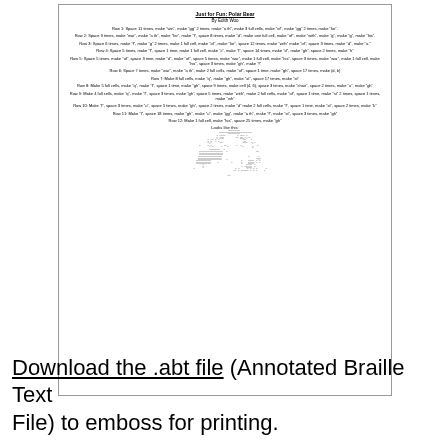Just for Fun: Polar Bear
By Edith Woo
Row 1: Space 11 times, make "win", make "gg" 2 times, make "a th", make 3 full cells, make "of", make "gg" 2 times, make "for".
Row 2: Space 9 times, make "war", make "a th", make "for", make "f", space 8 times, make "d", make one full cell, make "of", make "with", make "g", make "g", make "his".
Row 3: Space 6 times, make "f", make "g" 2 times, make 1 full cell, make "of", make "for", space 12 times, make "with" make "of", space 3 times, make "d", make "u."
Row 4: Space 5 times, make "f", space 1 time, make 1 full cell, make "c", make "f", space 14 times, make "d", make "gh", space 2 times, make "h"
Row 5: Space 5 times, make "of", space 3 time, make "d", make "of", space 5 times, make "war", make 1 full cell, make "his", space 3 times, make "war", make 1 full cell, make "his", space 3 times, make "gh", make "f"
Row 6: Space 7 times, make "war", make "a th", make 2 full cells, make "of", space 1 time, make "gh", space 17 times, make (d, b)
Row 7: Make 8 full cells, make "q", make "gh", make "st", space 17 times, make "st"
Row 8: Make 5 full cells, make "q", make "f", space 1 time, make "gh", space 9 times, make cell (4, 6), space 3 times, make "chair", space 2 times, make "u", make "gh"
Row 9: Make 4 full cells, make "q", make "f", space 3 times, make "gh", space 5 times, make "with", make 2 full cells, make "of", space 1 time, make "st" 2 times, space 1 times, make "wh"
Row 10: Make "f", space 3 times, make "u", space 5 times, make "gh", space 2 times, make "d" make 2 full cells, make "f", space 1 time, make "st", space 2 times, make "k"
Row 11: Make "l", space 18 times, make "gh", make "u", make "gg", make "a th", make "f", make "st", space 3 times, make "gh"
Row 12: Make 1 full cell, make "his", space 25 times, make "gh"
Looks like this:
[Figure (illustration): ASCII art illustration of a polar bear made with braille-like characters]
Download the .abt file (Annotated Braille Text File) to emboss for printing.